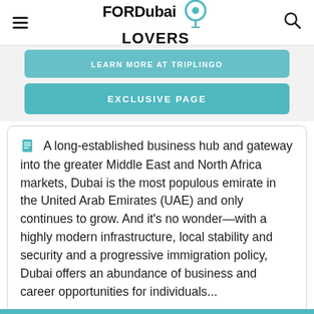FOR Dubai LOVERS
[Figure (logo): FORDubai LOVERS logo with teal location pin drop icon]
EXCLUSIVE PAGE
A long-established business hub and gateway into the greater Middle East and North Africa markets, Dubai is the most populous emirate in the United Arab Emirates (UAE) and only continues to grow. And it's no wonder—with a highly modern infrastructure, local stability and security and a progressive immigration policy, Dubai offers an abundance of business and career opportunities for individuals...